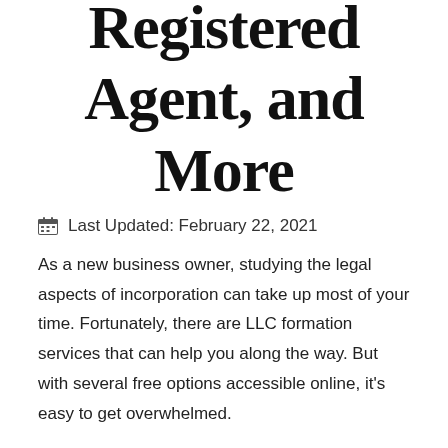Registered Agent, and More
Last Updated: February 22, 2021
As a new business owner, studying the legal aspects of incorporation can take up most of your time. Fortunately, there are LLC formation services that can help you along the way. But with several free options accessible online, it's easy to get overwhelmed.
Our team curated this review to determine if their